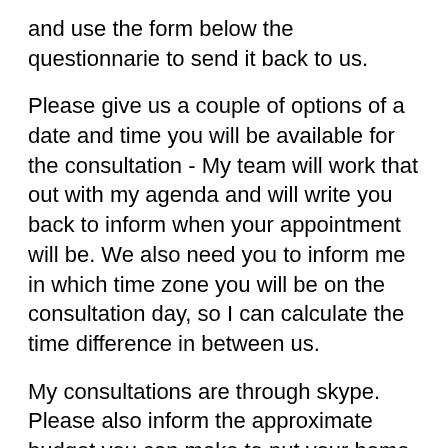and use the form below the questionnaire to send it back to us.
Please give us a couple of options of a date and time you will be available for the consultation - My team will work that out with my agenda and will write you back to inform when your appointment will be. We also need you to inform me in which time zone you will be on the consultation day, so I can calculate the time difference in between us.
My consultations are through skype. Please also inform the approximate budget you can make to put your home treatment center together.
Patient's intake information